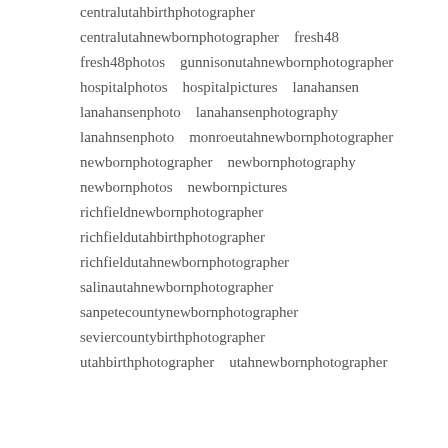centralutahbirthphotographer
centralutahnewbornphotographer   fresh48
fresh48photos   gunnisonutahnewbornphotographer
hospitalphotos   hospitalpictures   lanahansen
lanahansenphoto   lanahansenphotography
lanahnsenphoto   monroeutahnewbornphotographer
newbornphotographer   newbornphotography
newbornphotos   newbornpictures
richfieldnewbornphotographer
richfieldutahbirthphotographer
richfieldutahnewbornphotographer
salinautahnewbornphotographer
sanpetecountynewbornphotographer
seviercountybirthphotographer
utahbirthphotographer   utahnewbornphotographer